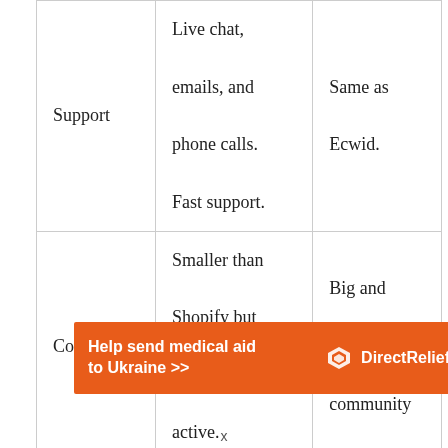| Support | Live chat, emails, and phone calls. Fast support. | Same as Ecwid. |
| Community | Smaller than Shopify but still very active. | Big and active community |
[Figure (other): Orange advertisement banner for DirectRelief: 'Help send medical aid to Ukraine >>' with DirectRelief logo on the right.]